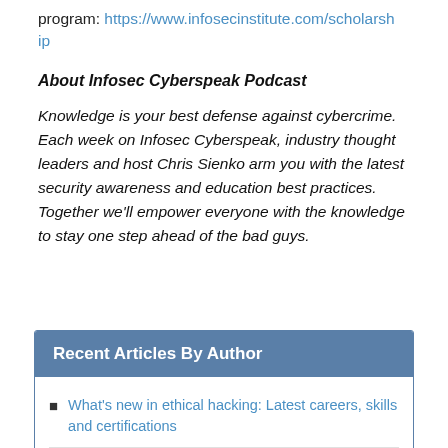program: https://www.infosecinstitute.com/scholarship
About Infosec Cyberspeak Podcast
Knowledge is your best defense against cybercrime. Each week on Infosec Cyberspeak, industry thought leaders and host Chris Sienko arm you with the latest security awareness and education best practices. Together we'll empower everyone with the knowledge to stay one step ahead of the bad guys.
Recent Articles By Author
What's new in ethical hacking: Latest careers, skills and certifications
Cybersecurity & compliance: What's here, what's